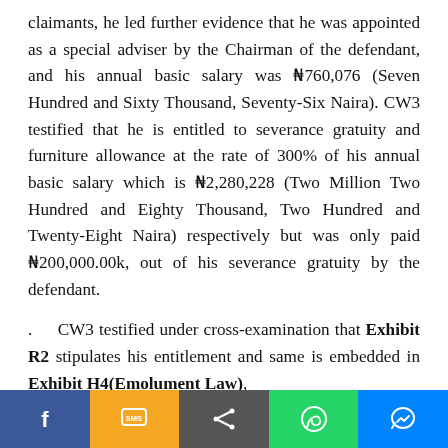claimants, he led further evidence that he was appointed as a special adviser by the Chairman of the defendant, and his annual basic salary was ₦760,076 (Seven Hundred and Sixty Thousand, Seventy-Six Naira). CW3 testified that he is entitled to severance gratuity and furniture allowance at the rate of 300% of his annual basic salary which is ₦2,280,228 (Two Million Two Hundred and Eighty Thousand, Two Hundred and Twenty-Eight Naira) respectively but was only paid ₦200,000.00k, out of his severance gratuity by the defendant.
. CW3 testified under cross-examination that Exhibit R2 stipulates his entitlement and same is embedded in Exhibit H4(Emolument Law),